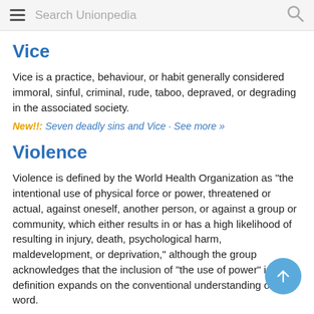Search Unionpedia
Vice
Vice is a practice, behaviour, or habit generally considered immoral, sinful, criminal, rude, taboo, depraved, or degrading in the associated society.
New!!: Seven deadly sins and Vice · See more »
Violence
Violence is defined by the World Health Organization as "the intentional use of physical force or power, threatened or actual, against oneself, another person, or against a group or community, which either results in or has a high likelihood of resulting in injury, death, psychological harm, maldevelopment, or deprivation," although the group acknowledges that the inclusion of "the use of power" in its definition expands on the conventional understanding of the word.
New!!: Seven deadly sins and Violence · See more »